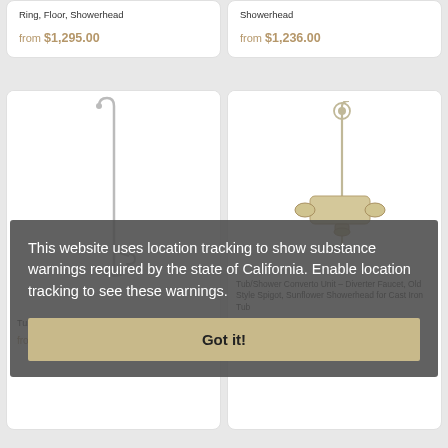Ring, Floor, Showerhead
from $1,295.00
Showerhead
from $1,236.00
[Figure (photo): Tub/Shower Converto Unit – Elephant Spout shower riser with floor mount and showerhead]
Tub/Shower Converto Unit – Elephant Spout
from $804.00
[Figure (photo): Tub/Shower Converto Unit – Diverter Faucet, Old Style Spigot, Sunflower Showerhead for Cast Iron Tub]
Tub/Shower Converto Unit – Diverter Faucet, Old Style Spigot, Sunflower Showerhead for Cast Iron Tub
$584.00 MSRP
This website uses location tracking to show substance warnings required by the state of California. Enable location tracking to see these warnings.
Got it!